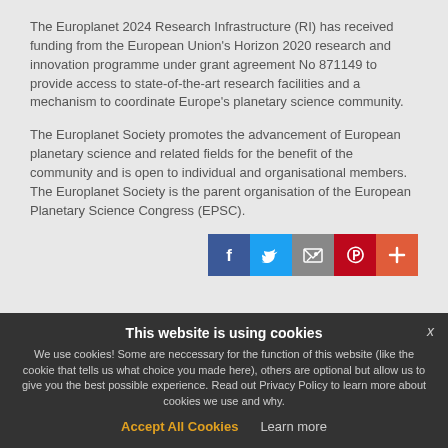The Europlanet 2024 Research Infrastructure (RI) has received funding from the European Union's Horizon 2020 research and innovation programme under grant agreement No 871149 to provide access to state-of-the-art research facilities and a mechanism to coordinate Europe's planetary science community.
The Europlanet Society promotes the advancement of European planetary science and related fields for the benefit of the community and is open to individual and organisational members. The Europlanet Society is the parent organisation of the European Planetary Science Congress (EPSC).
[Figure (other): Social media share buttons: Facebook (blue), Twitter (light blue), Email/share (grey), Pinterest (red), and a red plus button]
This website is using cookies
We use cookies! Some are neccessary for the function of this website (like the cookie that tells us what choice you made here), others are optional but allow us to give you the best possible experience. Read out Privacy Policy to learn more about cookies we use and why.
Accept All Cookies   Learn more